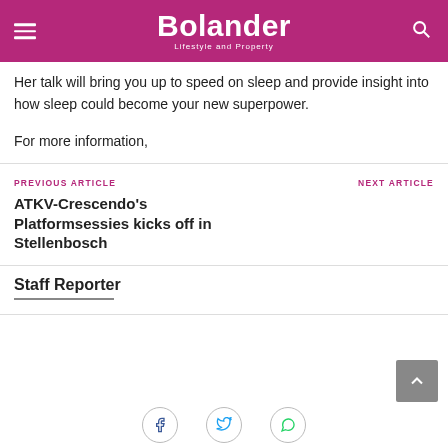Bolander Lifestyle and Property
Her talk will bring you up to speed on sleep and provide insight into how sleep could become your new superpower.
For more information,
PREVIOUS ARTICLE
ATKV-Crescendo's Platformsessies kicks off in Stellenbosch
NEXT ARTICLE
Staff Reporter